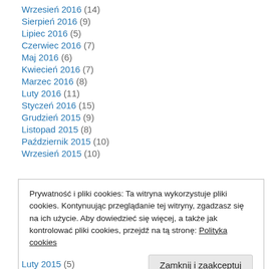Wrzesień 2016 (14)
Sierpień 2016 (9)
Lipiec 2016 (5)
Czerwiec 2016 (7)
Maj 2016 (6)
Kwiecień 2016 (7)
Marzec 2016 (8)
Luty 2016 (11)
Styczeń 2016 (15)
Grudzień 2015 (9)
Listopad 2015 (8)
Październik 2015 (10)
Wrzesień 2015 (10)
Prywatność i pliki cookies: Ta witryna wykorzystuje pliki cookies. Kontynuując przeglądanie tej witryny, zgadzasz się na ich użycie. Aby dowiedzieć się więcej, a także jak kontrolować pliki cookies, przejdź na tą stronę: Polityka cookies
Zamknij i zaakceptuj
Luty 2015 (5)